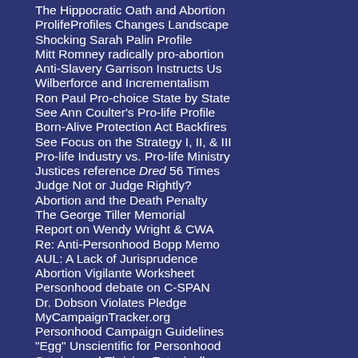The Hippocratic Oath and Abortion
ProlifeProfiles Changes Landscape
Shocking Sarah Palin Profile
Mitt Romney radically pro-abortion
Anti-Slavery Garrison Instructs Us
Wilberforce and Incrementalism
Ron Paul Pro-choice State by State
See Ann Coulter's Pro-life Profile
Born-Alive Protection Act Backfires
See Focus on the Strategy I, II, & III
Pro-life Industry vs. Pro-life Ministry
Justices reference Dred 56 Times
Judge Not or Judge Rightly?
Abortion and the Death Penalty
The George Tiller Memorial
Report on Wendy Wright & CWA
Re: Anti-Personhood Bopp Memo
AUL: A Lack of Jurisprudence
Abortion Vigilante Worksheet
Personhood debate on C-SPAN
Dr. Dobson Violates Pledge
MyCampaignTracker.org
Personhood Campaign Guidelines
"Egg" Unscientific for Personhood
Surving and Thriving Ectopically
Children's Hosp Euthanizes 4-yr old
The Overpopulation Myth & Abortion
Pepsi taste test with aborted cells
Debates with ARTL spokesmen
ARTL quotes the USCCB (bishops)